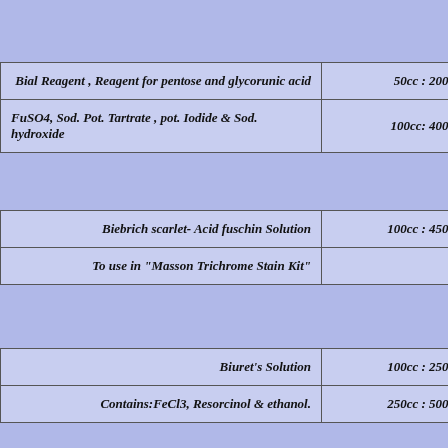| Product | Price |
| --- | --- |
| Bial Reagent , Reagent for pentose and glycorunic acid | 50cc : 200,000R |
| FuSO4, Sod. Pot. Tartrate , pot. Iodide  & Sod. hydroxide | 100cc: 400,000R |
| Product | Price |
| --- | --- |
| Biebrich scarlet- Acid fuschin  Solution | 100cc : 450,000R |
| To use in "Masson Trichrome Stain Kit" |  |
| Product | Price |
| --- | --- |
| Biuret's Solution | 100cc : 250,000R |
| Contains:FeCl3, Resorcinol & ethanol. | 250cc : 500,000R |
| Product | Price |
| --- | --- |
| Bradford Solution | 100cc : 450,000R |
| lliant blue G-250100mg/L,  phosphoric acid  &  alcohol. |  |